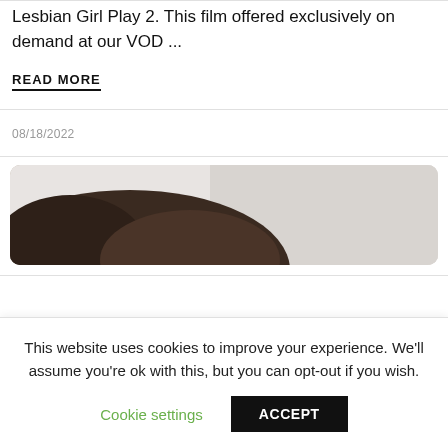Lesbian Girl Play 2. This film offered exclusively on demand at our VOD ...
READ MORE
08/18/2022
[Figure (photo): Partial view of a person's head with dark hair against a light background]
This website uses cookies to improve your experience. We'll assume you're ok with this, but you can opt-out if you wish.
Cookie settings
ACCEPT